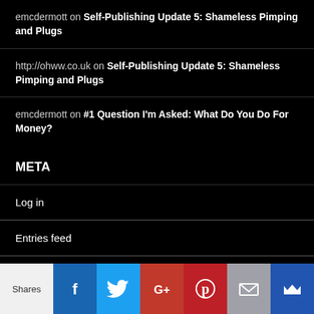emcdermott on Self-Publishing Update 5: Shameless Pimping and Plugs
http://ohww.co.uk on Self-Publishing Update 5: Shameless Pimping and Plugs
emcdermott on #1 Question I'm Asked: What Do You Do For Money?
META
Log in
Entries feed
Comments feed
WordPress.org
[Figure (infographic): Social sharing bar with Shares label, Facebook, Twitter, Google+, Pinterest, Email, and crown icon buttons]